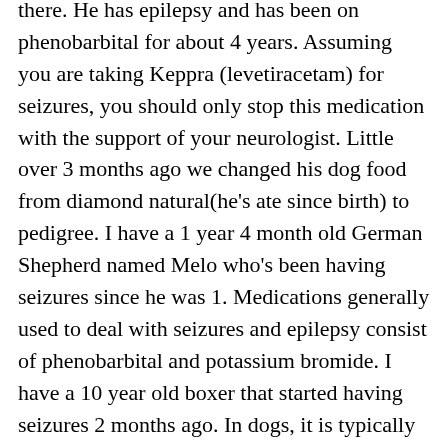there. He has epilepsy and has been on phenobarbital for about 4 years. Assuming you are taking Keppra (levetiracetam) for seizures, you should only stop this medication with the support of your neurologist. Little over 3 months ago we changed his dog food from diamond natural(he's ate since birth) to pedigree. I have a 1 year 4 month old German Shepherd named Melo who's been having seizures since he was 1. Medications generally used to deal with seizures and epilepsy consist of phenobarbital and potassium bromide. I have a 10 year old boxer that started having seizures 2 months ago. In dogs, it is typically used in combination with other anticonvulsants, while in cats, it is used alone or in combination. If you still need more medication to control your pain and you are not having serious Your clinician can instruct you in tapering your